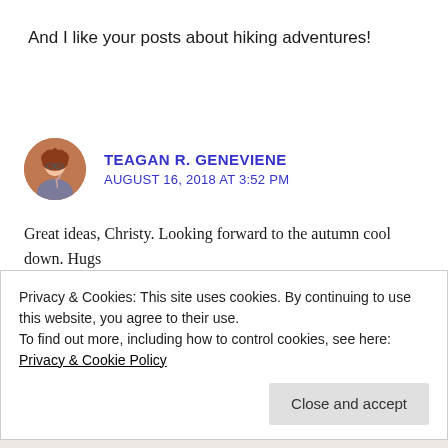And I like your posts about hiking adventures!
TEAGAN R. GENEVIENE
AUGUST 16, 2018 AT 3:52 PM
[Figure (illustration): Circular avatar photo of a woman with red hair and glasses]
Great ideas, Christy. Looking forward to the autumn cool down. Hugs
Privacy & Cookies: This site uses cookies. By continuing to use this website, you agree to their use.
To find out more, including how to control cookies, see here: Privacy & Cookie Policy